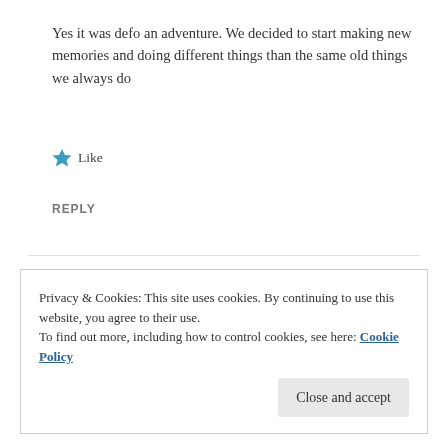Yes it was defo an adventure. We decided to start making new memories and doing different things than the same old things we always do
★ Like
REPLY
Privacy & Cookies: This site uses cookies. By continuing to use this website, you agree to their use.
To find out more, including how to control cookies, see here: Cookie Policy
Close and accept